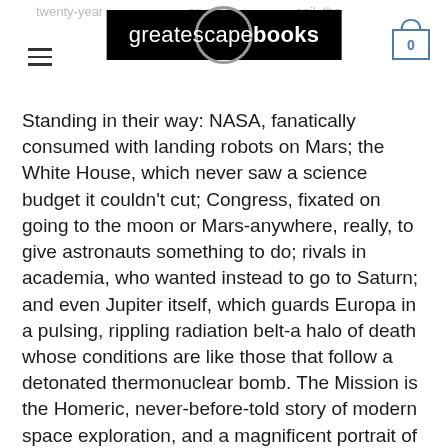greatescapebooks
Standing in their way: NASA, fanatically consumed with landing robots on Mars; the White House, which never saw a science budget it couldn't cut; Congress, fixated on going to the moon or Mars-anywhere, really, to give astronauts something to do; rivals in academia, who wanted instead to go to Saturn; and even Jupiter itself, which guards Europa in a pulsing, rippling radiation belt-a halo of death whose conditions are like those that follow a detonated thermonuclear bomb. The Mission is the Homeric, never-before-told story of modern space exploration, and a magnificent portrait of the inner lives of scientists who study the solar system's mysterious outer planets.
David W. Brown chronicles the remarkable saga of how Europa was won, and what it takes to get things done-both down here, and up there.